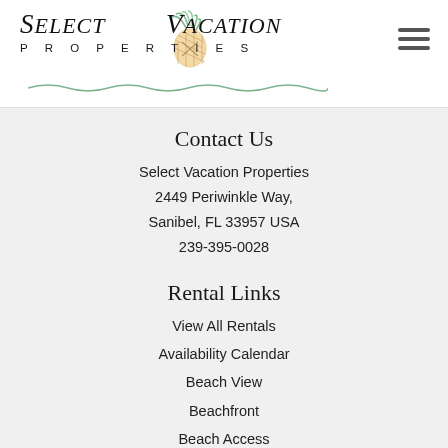[Figure (logo): Select Vacation Properties logo with pineapple illustration, serif italic text for SELECT VACATION and spaced caps for PROPERTIES]
Contact Us
Select Vacation Properties
2449 Periwinkle Way,
Sanibel, FL 33957 USA
239-395-0028
Rental Links
View All Rentals
Availability Calendar
Beach View
Beachfront
Beach Access